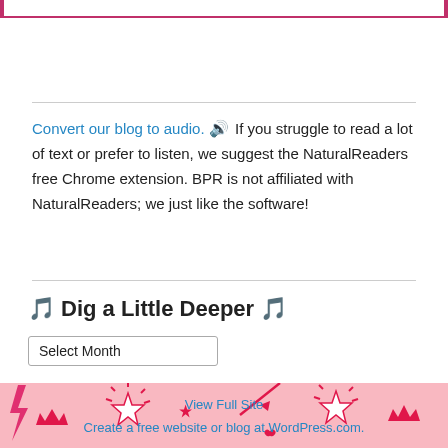Convert our blog to audio. 🔊 If you struggle to read a lot of text or prefer to listen, we suggest the NaturalReaders free Chrome extension. BPR is not affiliated with NaturalReaders; we just like the software!
🎵 Dig a Little Deeper 🎵
Select Month (dropdown)
View Full Site
Create a free website or blog at WordPress.com.